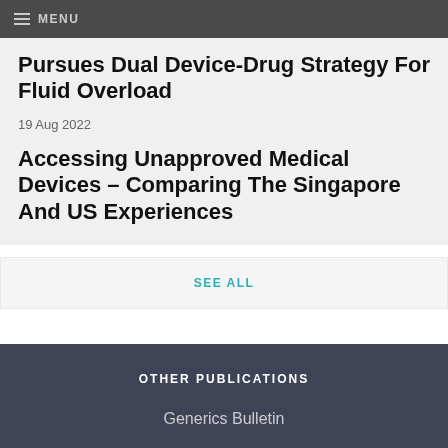MENU
Pursues Dual Device-Drug Strategy For Fluid Overload
19 Aug 2022
Accessing Unapproved Medical Devices – Comparing The Singapore And US Experiences
SEE ALL
OTHER PUBLICATIONS
Generics Bulletin